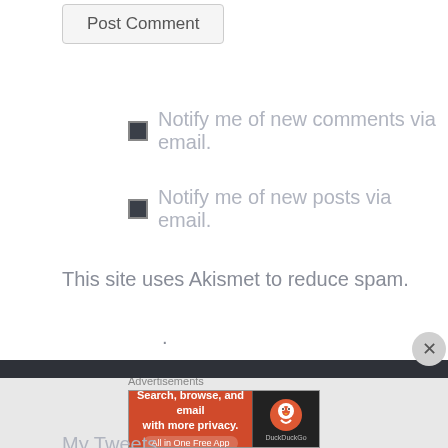Post Comment
Notify me of new comments via email.
Notify me of new posts via email.
This site uses Akismet to reduce spam. Learn how your comment data is processed.
Follow me on Twitter
My Tweets
Advertisements
[Figure (other): DuckDuckGo advertisement banner: Search, browse, and email with more privacy. All in One Free App. Shows DuckDuckGo logo on right side.]